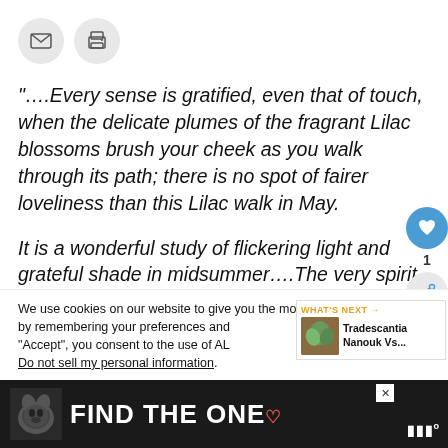[Figure (other): Two circular icon buttons: an envelope (email) icon and a printer icon, both on grey circular backgrounds]
“….Every sense is gratified, even that of touch, when the delicate plumes of the fragrant Lilac blossoms brush your cheek as you walk through its path; there is no spot of fairer loveliness than this Lilac walk in May.
It is a wonderful study of flickering light and grateful shade in midsummer….The very spirit o
We use cookies on our website to give you the most relevant experience by remembering your preferences and. By clicking “Accept”, you consent to the use of AL
Do not sell my personal information.
[Figure (other): WHAT'S NEXT advertisement panel with Tradescantia Nanouk Vs... text and a plant image thumbnail]
[Figure (other): Advertisement banner with dog image and text FIND THE ONE with a heart symbol]